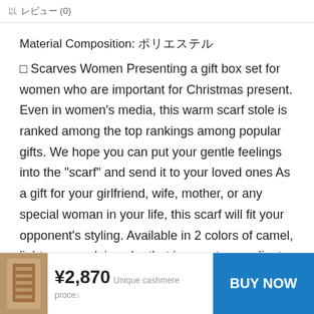以 レビュー (0)
Material Composition: ポリエステル
□ Scarves Women Presenting a gift box set for women who are important for Christmas present. Even in women's media, this warm scarf stole is ranked among the top rankings among popular gifts. We hope you can put your gentle feelings into the "scarf" and send it to your loved ones As a gift for your girlfriend, wife, mother, or any special woman in your life, this scarf will fit your opponent's styling. Available in 2 colors of camel, light gray, a plain color that is easy to coordinate with your outfit. It also goes great with winter technology makes it warmer than natural
¥2,870 Unique cashmere process
BUY NOW